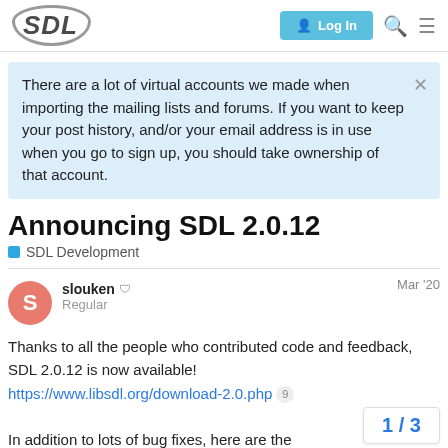SDL  Log In
There are a lot of virtual accounts we made when importing the mailing lists and forums. If you want to keep your post history, and/or your email address is in use when you go to sign up, you should take ownership of that account.
Announcing SDL 2.0.12
SDL Development
slouken  Regular  Mar '20
Thanks to all the people who contributed code and feedback, SDL 2.0.12 is now available!
https://www.libsdl.org/download-2.0.php  9
In addition to lots of bug fixes, here are the...
1 / 3